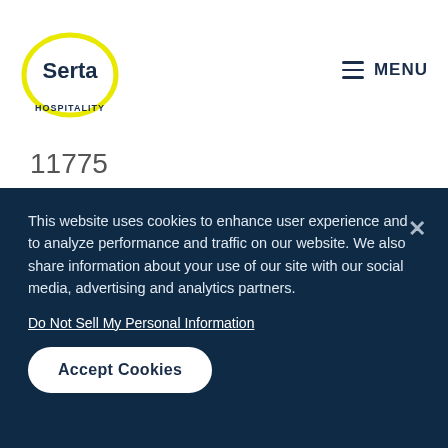[Figure (logo): Serta Hospitality logo: yellow oval outline with 'Serta' text in navy and 'HOSPITALITY' below]
MENU
11775
11776
11777
11778
11779
11780
This website uses cookies to enhance user experience and to analyze performance and traffic on our website. We also share information about your use of our site with our social media, advertising and analytics partners.
Do Not Sell My Personal Information
Accept Cookies